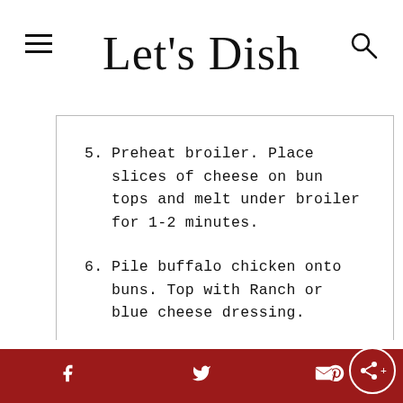Let's Dish
5. Preheat broiler. Place slices of cheese on bun tops and melt under broiler for 1-2 minutes.
6. Pile buffalo chicken onto buns. Top with Ranch or blue cheese dressing.
[Figure (photo): Food photo placeholder area (gray background)]
Social sharing footer with Facebook, Twitter, Pinterest, Email, and Share icons